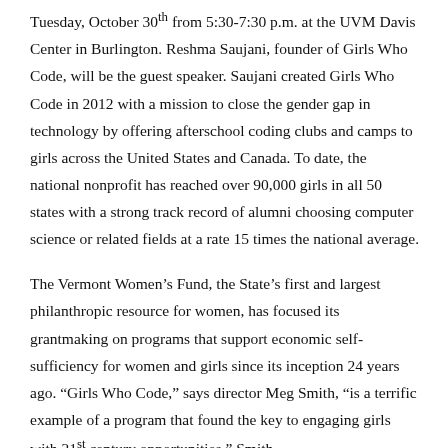Tuesday, October 30th from 5:30-7:30 p.m. at the UVM Davis Center in Burlington. Reshma Saujani, founder of Girls Who Code, will be the guest speaker. Saujani created Girls Who Code in 2012 with a mission to close the gender gap in technology by offering afterschool coding clubs and camps to girls across the United States and Canada. To date, the national nonprofit has reached over 90,000 girls in all 50 states with a strong track record of alumni choosing computer science or related fields at a rate 15 times the national average.
The Vermont Women's Fund, the State's first and largest philanthropic resource for women, has focused its grantmaking on programs that support economic self-sufficiency for women and girls since its inception 24 years ago. “Girls Who Code,” says director Meg Smith, “is a terrific example of a program that found the key to engaging girls with 21st century opportunities.” Smith